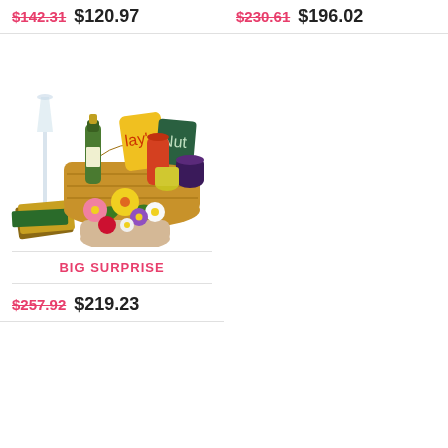$142.31  $120.97
$230.61  $196.02
[Figure (photo): Gift basket product photo showing a wicker basket filled with snacks, a champagne bottle, a champagne flute, and a colorful flower arrangement]
BIG SURPRISE
$257.92  $219.23